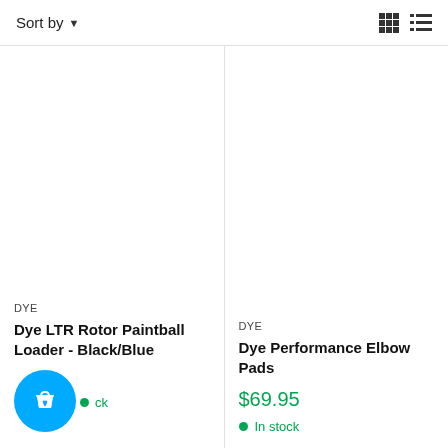Sort by
DYE
Dye LTR Rotor Paintball Loader - Black/Blue
In stock
DYE
Dye Performance Elbow Pads
$69.95
In stock